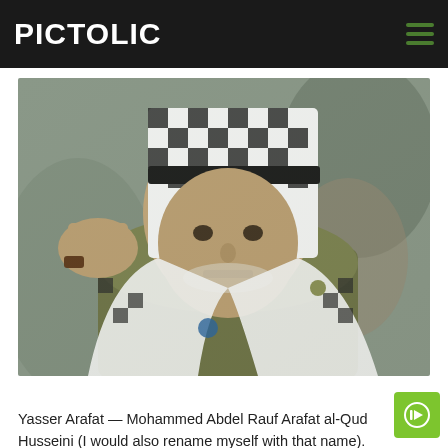PICTOLIC
[Figure (photo): Yasser Arafat saluting, wearing traditional black and white keffiyeh and olive military jacket]
Yasser Arafat — Mohammed Abdel Rauf Arafat al-Qud Husseini (I would also rename myself with that name).